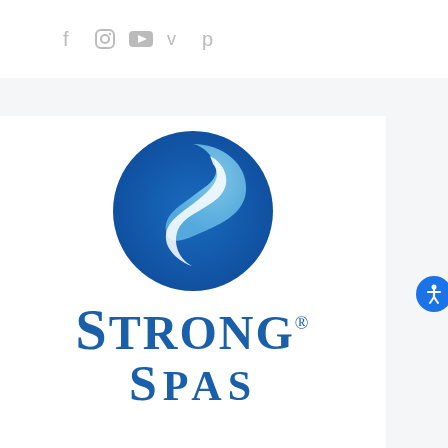[Figure (logo): Social media icons: Facebook, Instagram, YouTube, Vimeo, Pinterest in gray]
[Figure (logo): Strong Spas logo — circular S-shaped swirl in blue and light blue gradient, with 'Strong Spas' text in dark blue serif font below]